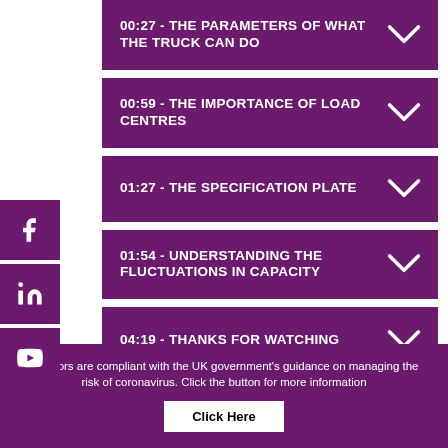00:27 - THE PARAMETERS OF WHAT THE TRUCK CAN DO
00:59 - THE IMPORTANCE OF LOAD CENTRES
01:27 - THE SPECIFICATION PLATE
01:54 - UNDERSTANDING THE FLUCTUATIONS IN CAPACITY
04:19 - THANKS FOR WATCHING
Locators are compliant with the UK government's guidance on managing the risk of coronavirus. Click the button for more information
Click Here